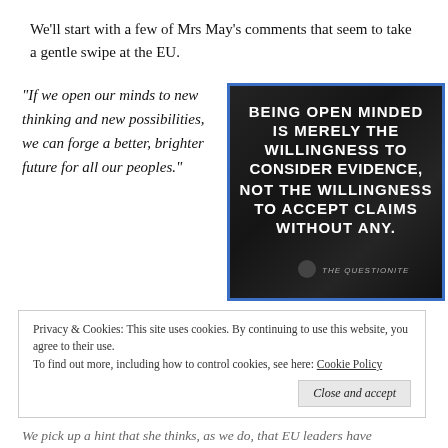We'll start with a few of Mrs May's comments that seem to take a gentle swipe at the EU.
“If we open our minds to new thinking and new possibilities, we can forge a better, brighter future for all our peoples.”
[Figure (illustration): Dark fabric background with bold white text: BEING OPEN MINDED IS MERELY THE WILLINGNESS TO CONSIDER EVIDENCE, NOT THE WILLINGNESS TO ACCEPT CLAIMS WITHOUT ANY. Branded with 'The Questionite' logo.]
Privacy & Cookies: This site uses cookies. By continuing to use this website, you agree to their use.
To find out more, including how to control cookies, see here: Cookie Policy
We pick up a hint that she thinks, as we do, that EU leaders have